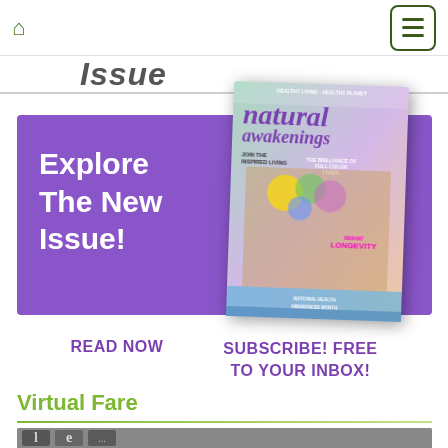Home icon | Menu button
Issue
[Figure (illustration): Purple promotional banner with white text 'Explore The New Issue!' overlaid with a Natural Awakenings magazine cover showing a woman with colorful paint on her face. Cover text includes 'VIBRANT LONGEVITY', 'NATIONAL HEALTH AWARENESS MONTH'.]
READ NOW
SUBSCRIBE! FREE TO YOUR INBOX!
Virtual Fare
[Figure (photo): Partial image at bottom showing metal letter tiles on a surface, appearing to spell 'le...']